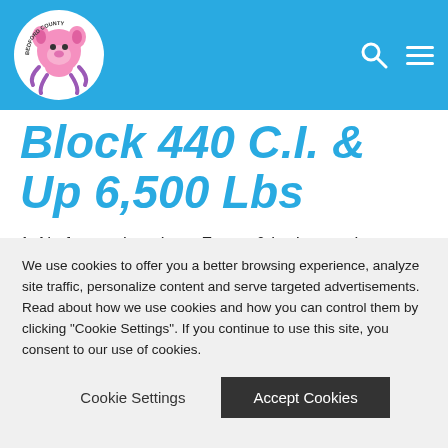Bedford County (logo) - navigation header with search and menu icons
Block 440 C.I. & Up 6,500 Lbs
1. No frame alterations. Frame & body must be same year & make.
2. Limit to one 4 barrel carb. High rise manifold allowed. No tunnel rams.
3. Must have fan shroud.
4. Headers allowed.
5. Pulling hitch permitted.
We use cookies to offer you a better browsing experience, analyze site traffic, personalize content and serve targeted advertisements. Read about how we use cookies and how you can control them by clicking "Cookie Settings". If you continue to use this site, you consent to our use of cookies.
Cookie Settings  Accept Cookies